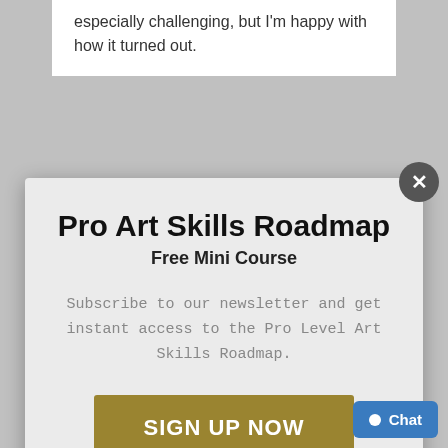especially challenging, but I'm happy with how it turned out.
Pro Art Skills Roadmap
Free Mini Course
Subscribe to our newsletter and get instant access to the Pro Level Art Skills Roadmap.
SIGN UP NOW
[Figure (photo): Sepia-toned photo of hands, partially visible at bottom of page]
Chat